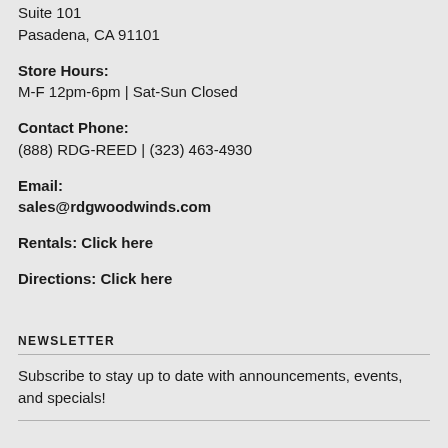Suite 101
Pasadena, CA 91101
Store Hours:
M-F 12pm-6pm | Sat-Sun Closed
Contact Phone:
(888) RDG-REED | (323) 463-4930
Email:
sales@rdgwoodwinds.com
Rentals: Click here
Directions: Click here
NEWSLETTER
Subscribe to stay up to date with announcements, events, and specials!